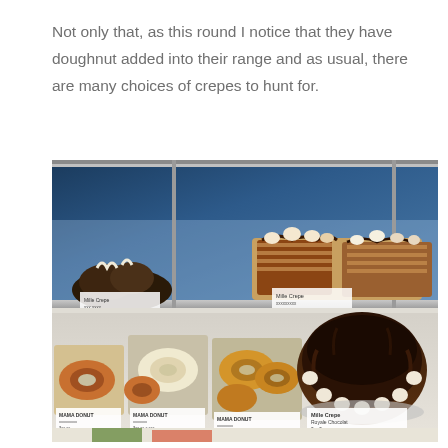Not only that, as this round I notice that they have doughnut added into their range and as usual, there are many choices of crepes to hunt for.
[Figure (photo): Photo of a bakery display case showing various pastries, doughnuts, and crepe cakes on shelves. The lower shelf shows items labeled MAMA DONUT and MILLE CREPE Royale Chocolat. The upper shelf shows mille crepe cakes.]